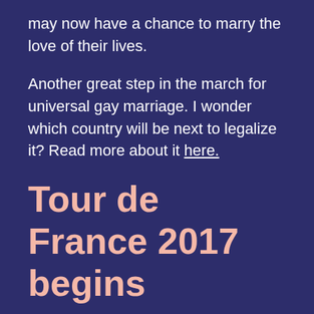may now have a chance to marry the love of their lives.
Another great step in the march for universal gay marriage. I wonder which country will be next to legalize it? Read more about it here.
Tour de France 2017 begins
[Figure (photo): Broken image placeholder for Tour de France image result]
Tour de France members racing (bicycling.com